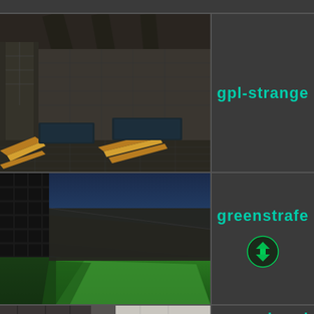[Figure (screenshot): 3D game map screenshot showing an indoor industrial environment with tiled floor, concrete columns, glowing orange/yellow chevron lines on the floor, and a ceiling with beams. Dark atmospheric scene.]
gpl-strange
[Figure (screenshot): 3D game map screenshot showing an outdoor environment with bright green grass, a dark textured wall on the left, a concrete ledge, and a blue sky. Nighttime or dusk lighting.]
greenstrafe
[Figure (other): Small circular icon with green arrows/chevrons on dark background, resembling a multiplayer or refresh symbol.]
[Figure (screenshot): 3D game map screenshot showing a stone/brick environment with rough textured walls and concrete pillars. Partially visible at bottom of page.]
grenadorad